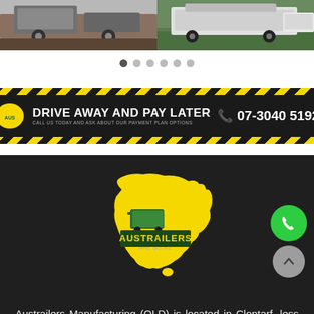[Figure (photo): Two images of trailers side by side - left shows a trailer on wooden deck, right shows a trailer on grass]
[Figure (infographic): Carousel pagination dots row with 6 dots, first one active/dark]
[Figure (infographic): Black banner with yellow and black diagonal hazard stripes borders, Austrailers logo, text DRIVE AWAY AND PAY LATER, subtitle CALL US TODAY AND ASK ABOUT OUR PAYMENT PLAN OPTIONS, phone icon and number 07-3040 5192]
[Figure (logo): Austrailers logo - yellow Australia map silhouette with green trailer and AUSTRAILERS text in yellow on dark green banner, with IPPB, QLD P.L. text below]
Austrailers Manufacturing (QLD) is located in Clontarf, less than 10 minutes drive North from the Brisbane CBD – see our location map for directions. Austrailers began as a small trailer manufacturing business and rapidly built up a reputation amongst home owners and tradesmen alike through the production of high quality box